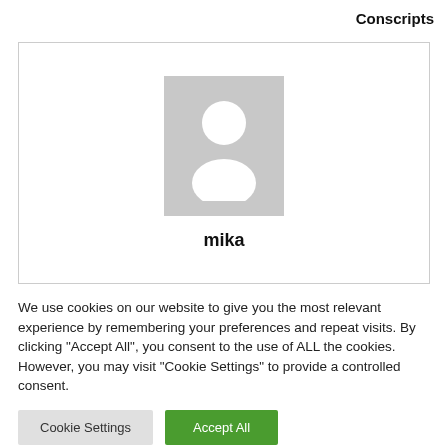Conscripts
[Figure (illustration): User profile card with a generic grey avatar placeholder image and the username 'mika' displayed below it in bold.]
We use cookies on our website to give you the most relevant experience by remembering your preferences and repeat visits. By clicking "Accept All", you consent to the use of ALL the cookies. However, you may visit "Cookie Settings" to provide a controlled consent.
Cookie Settings | Accept All